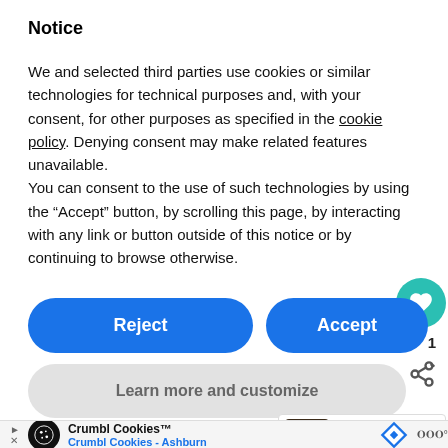Notice
We and selected third parties use cookies or similar technologies for technical purposes and, with your consent, for other purposes as specified in the cookie policy. Denying consent may make related features unavailable.
You can consent to the use of such technologies by using the “Accept” button, by scrolling this page, by interacting with any link or button outside of this notice or by continuing to browse otherwise.
[Figure (screenshot): Reject and Accept buttons (blue rounded), Learn more and customize button (gray rounded), floating heart/share panel on right, What's Next panel, ad banner for Crumbl Cookies]